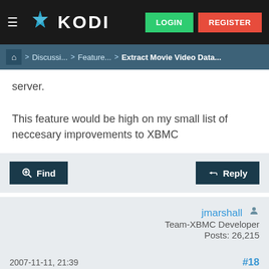KODI | LOGIN | REGISTER
Home > Discussi... > Feature... > Extract Movie Video Data...
server.
This feature would be high on my small list of neccesary improvements to XBMC
Find   Reply
jmarshall  Team-XBMC Developer  Posts: 26,215
2007-11-11, 21:39   #18